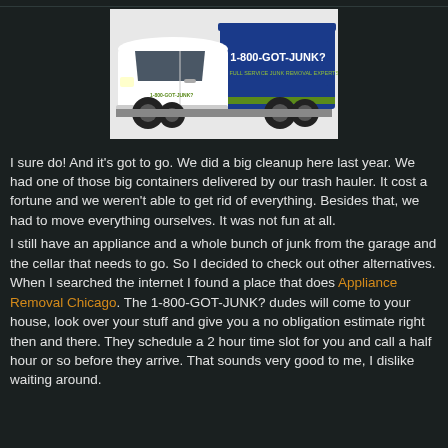[Figure (photo): A 1-800-GOT-JUNK? truck — white cab on the left and a blue container on the right with '1-800-GOT-JUNK?' text on the side in green and white lettering.]
I sure do! And it's got to go. We did a big cleanup here last year. We had one of those big containers delivered by our trash hauler. It cost a fortune and we weren't able to get rid of everything. Besides that, we had to move everything ourselves. It was not fun at all.
I still have an appliance and a whole bunch of junk from the garage and the cellar that needs to go. So I decided to check out other alternatives. When I searched the internet I found a place that does Appliance Removal Chicago. The 1-800-GOT-JUNK? dudes will come to your house, look over your stuff and give you a no obligation estimate right then and there. They schedule a 2 hour time slot for you and call a half hour or so before they arrive. That sounds very good to me, I dislike waiting around.